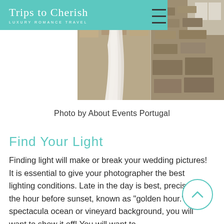Trips to Cherish — LUXURY ROMANCE TRAVEL
[Figure (photo): Wedding veil and stone wall setting — two-panel photo by About Events Portugal]
Photo by About Events Portugal
Find Your Light
Finding light will make or break your wedding pictures! It is essential to give your photographer the best lighting conditions. Late in the day is best, precisely the hour before sunset, known as "golden hour." If you spectacular ocean or vineyard background, you will want to show it off! You will want to...